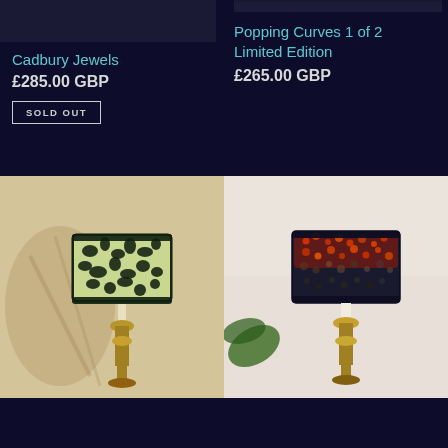[Figure (photo): Partial top of a lamp shade product photo, dark navy background, top left area]
Cadbury Jewels
£285.00 GBP
SOLD OUT
[Figure (photo): Partial top of a lamp shade product photo, dark navy background, top right area]
Popping Curves 1 of 2 Limited Edition
£265.00 GBP
[Figure (photo): Floor lamp with dark navy drum shade featuring black floral silhouette pattern on light green background, brass candlestick base, warm interior setting]
[Figure (photo): Floor lamp with dark navy drum shade featuring orange and red mosaic/speckle pattern, brass candlestick base, light neutral wall background with plant visible]